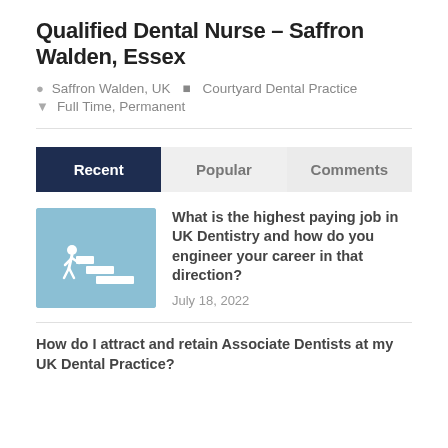Qualified Dental Nurse – Saffron Walden, Essex
Saffron Walden, UK   Courtyard Dental Practice
Full Time, Permanent
Recent  Popular  Comments
[Figure (illustration): Light blue square thumbnail with a white staircase and figure climbing steps illustration]
What is the highest paying job in UK Dentistry and how do you engineer your career in that direction?
July 18, 2022
How do I attract and retain Associate Dentists at my UK Dental Practice?